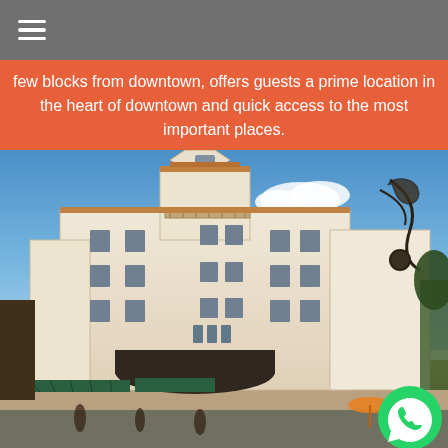≡
few blocks from downtown, offers guests a prime location in the heart of downtown and quick access to the most important places.
[Figure (photo): Exterior photograph of a large white Spanish-colonial style hotel building with a distinctive tower, multiple floors with balconies and arched windows, photographed from street level. A decorative wrought iron sign is visible on the right. Green awnings and cafe seating visible at ground level. Blue sky with clouds in background.]